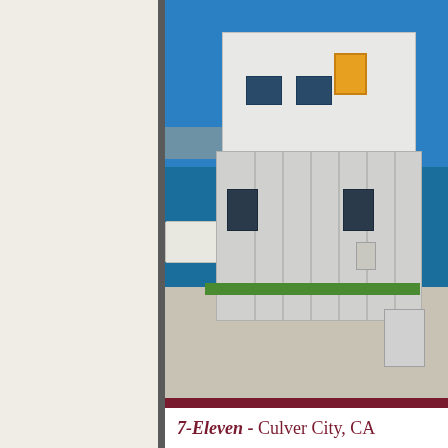[Figure (photo): Exterior photo of a two-story modular/prefabricated white building with yellow window accents, photographed in a parking lot with blue sky, a car, and an overpass visible in the background. HVAC and electrical equipment visible on right side.]
7-Eleven - Culver City, CA